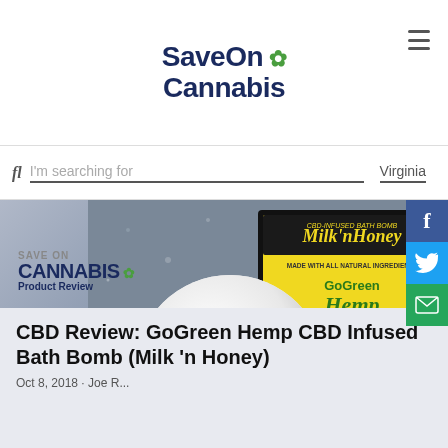SaveOn Cannabis
I'm searching for | Virginia
[Figure (photo): A white spherical CBD bath bomb labeled 'Milk 'n Honey' held in a hand, with a black box bearing the GoGreen Hemp logo in the background. The bath bomb has a yellow label band around its equator.]
[Figure (logo): Save On Cannabis Product Review watermark logo overlay on the image]
CBD Review: GoGreen Hemp CBD Infused Bath Bomb (Milk 'n Honey)
Oct 8, 2018 · Joe R...